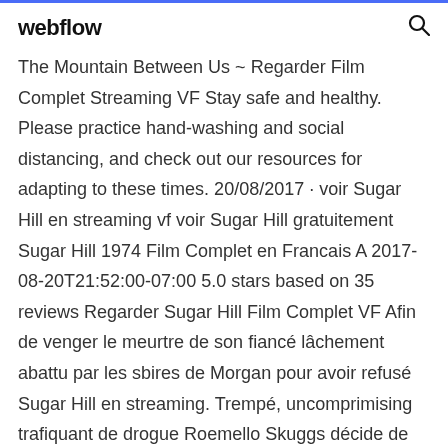webflow
The Mountain Between Us ~ Regarder Film Complet Streaming VF Stay safe and healthy. Please practice hand-washing and social distancing, and check out our resources for adapting to these times. 20/08/2017 · voir Sugar Hill en streaming vf voir Sugar Hill gratuitement Sugar Hill 1974 Film Complet en Francais A 2017-08-20T21:52:00-07:00 5.0 stars based on 35 reviews Regarder Sugar Hill Film Complet VF Afin de venger le meurtre de son fiancé lâchement abattu par les sbires de Morgan pour avoir refusé Sugar Hill en streaming. Trempé, uncomprimising trafiquant de drogue Roemello Skuggs décide de quitter sa profession de salaud alors il peut commencer